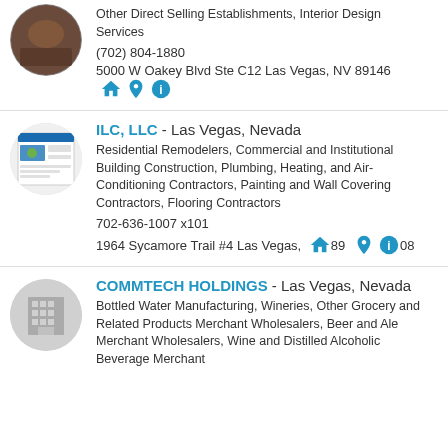Other Direct Selling Establishments, Interior Design Services
(702) 804-1880
5000 W Oakey Blvd Ste C12 Las Vegas, NV 89146
ILC, LLC - Las Vegas, Nevada
Residential Remodelers, Commercial and Institutional Building Construction, Plumbing, Heating, and Air-Conditioning Contractors, Painting and Wall Covering Contractors, Flooring Contractors
702-636-1007 x101
1964 Sycamore Trail #4 Las Vegas, 89008
COMMTECH HOLDINGS - Las Vegas, Nevada
Bottled Water Manufacturing, Wineries, Other Grocery and Related Products Merchant Wholesalers, Beer and Ale Merchant Wholesalers, Wine and Distilled Alcoholic Beverage Merchant